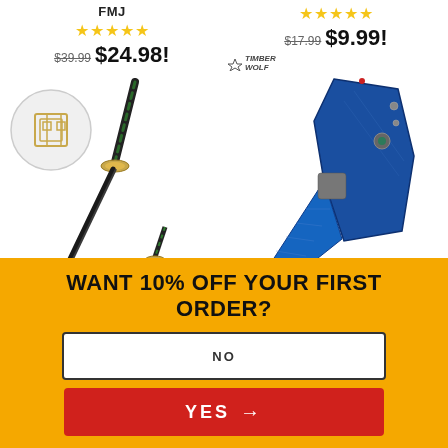FMJ
★★★★★ $39.99 $24.98!
★★★★★ $17.99 $9.99!
[Figure (photo): Katana sword with gold tsuba guard and green wrapped handle, with circular close-up inset of the guard detail]
[Figure (photo): Timber Wolf blue folding pocket knife with decorative blade pattern, shown open and closed, with Timber Wolf logo]
WANT 10% OFF YOUR FIRST ORDER?
NO
YES →